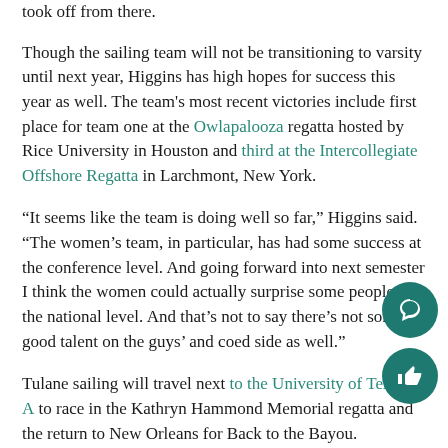took off from there.
Though the sailing team will not be transitioning to varsity until next year, Higgins has high hopes for success this year as well. The team's most recent victories include first place for team one at the Owlapalooza regatta hosted by Rice University in Houston and third at the Intercollegiate Offshore Regatta in Larchmont, New York.
“It seems like the team is doing well so far,” Higgins said. “The women’s team, in particular, has had some success at the conference level. And going forward into next semester I think the women could actually surprise some people at the national level. And that’s not to say there’s not some good talent on the guys’ and coed side as well.”
Tulane sailing will travel next to the University of Texas at A to race in the Kathryn Hammond Memorial regatta and the return to New Orleans for Back to the Bayou.
“I don’t think there’s anything stopping Tulane in the future being a high competition, nationally competitive...” Higgins